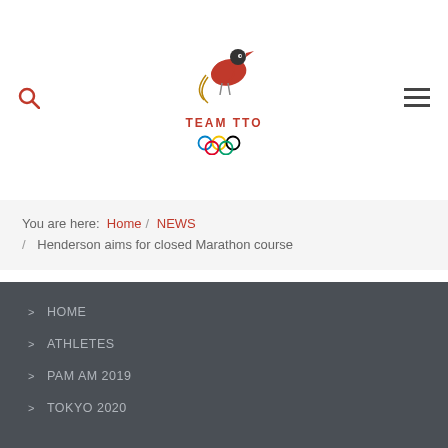[Figure (logo): Team TTO Olympic logo with bird and Olympic rings]
You are here: Home / NEWS / Henderson aims for closed Marathon course
> HOME
> ATHLETES
> PAM AM 2019
> TOKYO 2020